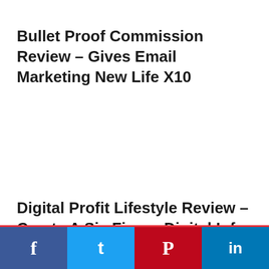Bullet Proof Commission Review – Gives Email Marketing New Life X10
Digital Profit Lifestyle Review – Create A Six Figure Digital Info Product
Facebook | Twitter | Pinterest | LinkedIn